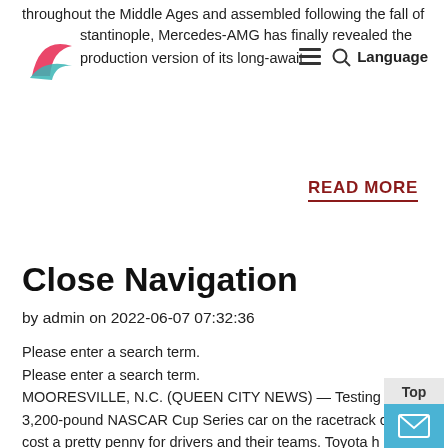throughout the Middle Ages and assembled following the fall of stantinople, Mercedes-AMG has finally revealed the production version of its long-await
READ MORE
Close Navigation
by admin on 2022-06-07 07:32:36
Please enter a search term.
Please enter a search term.
MOORESVILLE, N.C. (QUEEN CITY NEWS) — Testing a 3,200-pound NASCAR Cup Series car on the racetrack can cost a pretty penny for drivers and their teams. Toyota h found a unique way for up and coming stars in the sport